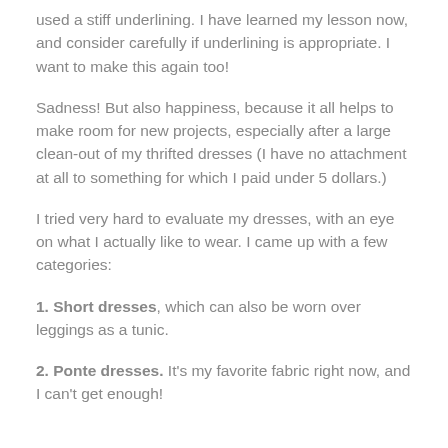used a stiff underlining.  I have learned my lesson now, and consider carefully if underlining is appropriate.  I want to make this again too!
Sadness!  But also happiness, because it all helps to make room for new projects, especially after a large clean-out of my thrifted dresses (I have no attachment at all to something for which I paid under 5 dollars.)
I tried very hard to evaluate my dresses, with an eye on what I actually like to wear.  I came up with a few categories:
1. Short dresses, which can also be worn over leggings as a tunic.
2. Ponte dresses.  It's my favorite fabric right now, and I can't get enough!